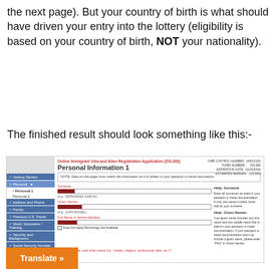the next page). But your country of birth is what should have driven your entry into the lottery (eligibility is based on your country of birth, NOT your nationality).
The finished result should look something like this:-
[Figure (screenshot): Screenshot of DS-260 Online Immigrant Visa and Alien Registration Application form showing Personal Information 1 page with sidebar navigation and form fields for Surname, Given Names, and Full Name in Native Alphabet, with redacted example entries.]
Translate »